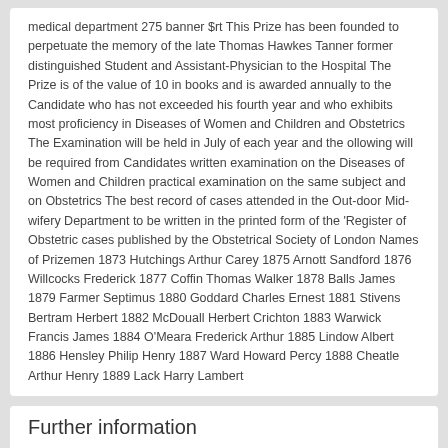medical department 275 banner $rt This Prize has been founded to perpetuate the memory of the late Thomas Hawkes Tanner former distinguished Student and Assistant-Physician to the Hospital The Prize is of the value of 10 in books and is awarded annually to the Candidate who has not exceeded his fourth year and who exhibits most proficiency in Diseases of Women and Children and Obstetrics The Examination will be held in July of each year and the ollowing will be required from Candidates written examination on the Diseases of Women and Children practical examination on the same subject and on Obstetrics The best record of cases attended in the Out-door Mid- wifery Department to be written in the printed form of the 'Register of Obstetric cases published by the Obstetrical Society of London Names of Prizemen 1873 Hutchings Arthur Carey 1875 Arnott Sandford 1876 Willcocks Frederick 1877 Coffin Thomas Walker 1878 Balls James 1879 Farmer Septimus 1880 Goddard Charles Ernest 1881 Stivens Bertram Herbert 1882 McDouall Herbert Crichton 1883 Warwick Francis James 1884 O'Meara Frederick Arthur 1885 Lindow Albert 1886 Hensley Philip Henry 1887 Ward Howard Percy 1888 Cheatle Arthur Henry 1889 Lack Harry Lambert
Further information
For further information about this page, please click here to contact us ›